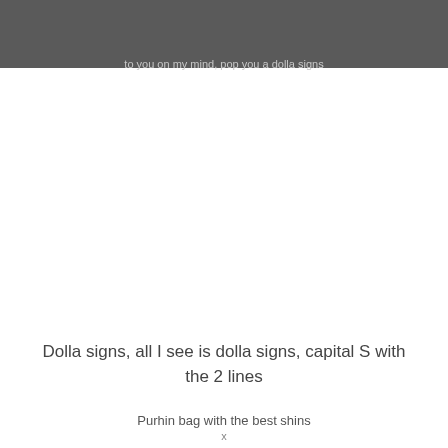to you on my mind, pop you a dolla signs
Dolla signs, all I see is dolla signs, capital S with the 2 lines
Purhin bag with the best shins
x